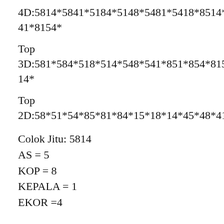4D:5814*5841*5184*5148*5481*5418*8514*8541*8154*
Top
3D:581*584*518*514*548*541*851*854*815*814*
Top
2D:58*51*54*85*81*84*15*18*14*45*48*41*
Colok Jitu: 5814
AS = 5
KOP = 8
KEPALA = 1
EKOR =4